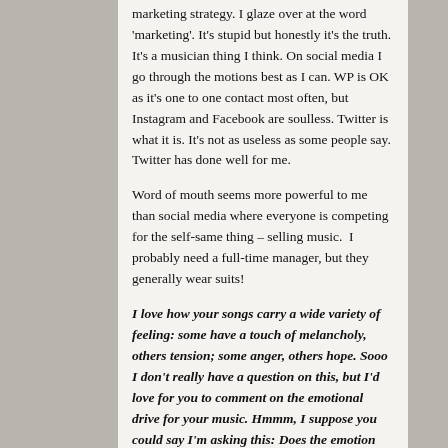marketing strategy. I glaze over at the word 'marketing'. It's stupid but honestly it's the truth. It's a musician thing I think. On social media I go through the motions best as I can. WP is OK as it's one to one contact most often, but Instagram and Facebook are soulless. Twitter is what it is. It's not as useless as some people say. Twitter has done well for me.
Word of mouth seems more powerful to me than social media where everyone is competing for the self-same thing – selling music. I probably need a full-time manager, but they generally wear suits!
I love how your songs carry a wide variety of feeling: some have a touch of melancholy, others tension; some anger, others hope. Sooo I don't really have a question on this, but I'd love for you to comment on the emotional drive for your music. Hmmm, I suppose you could say I'm asking this: Does the emotion come first to inspire the song, or does the song help build these emotions inside you?
I never know how a song's emotion will evolve. Creativity never